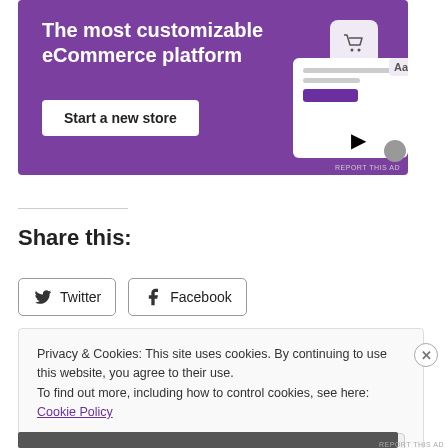[Figure (screenshot): Purple eCommerce platform advertisement banner with text 'The most customizable eCommerce platform', a 'Start a new store' button, and a UI mockup graphic with shopping cart icon]
REPORT THIS AD
Share this:
Twitter
Facebook
Privacy & Cookies: This site uses cookies. By continuing to use this website, you agree to their use.
To find out more, including how to control cookies, see here: Cookie Policy
Close and accept